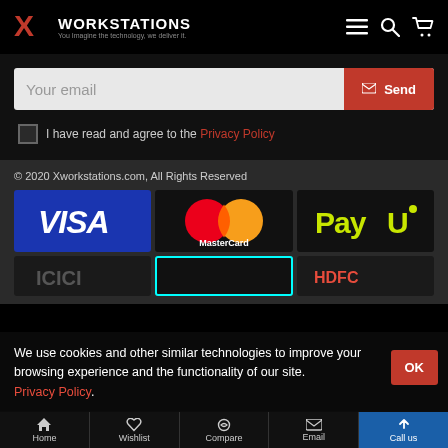X WORKSTATIONS — You Imagine the technology, we deliver it.
Your email
Send
I have read and agree to the Privacy Policy
© 2020 Xworkstations.com, All Rights Reserved
[Figure (logo): VISA payment logo - blue background with white VISA text]
[Figure (logo): MasterCard payment logo - red and orange overlapping circles with MasterCard text]
[Figure (logo): PayU payment logo - black background with yellow-green PayU text]
[Figure (logo): Partially visible payment logos in bottom row including HDFC]
We use cookies and other similar technologies to improve your browsing experience and the functionality of our site. Privacy Policy.
Home | Wishlist | Compare | Email | Call us